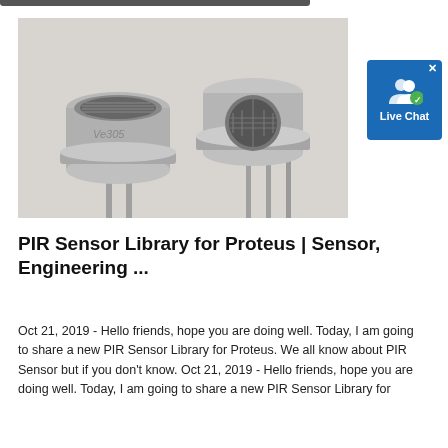[Figure (photo): Two metallic PIR (Passive Infrared) sensor components photographed on a light gray background. The left sensor is viewed from a slight angle showing a mesh-top cylindrical metal can with legs; the right sensor is viewed from the side and front showing a round mesh window on the front face, also with metal legs protruding downward.]
[Figure (screenshot): Live Chat button widget — blue square with white silhouette icons of two people and a checkmark badge, labeled 'Live Chat' in white bold text, with an X close button in top right corner.]
PIR Sensor Library for Proteus | Sensor, Engineering ...
Oct 21, 2019 - Hello friends, hope you are doing well. Today, I am going to share a new PIR Sensor Library for Proteus. We all know about PIR Sensor but if you don't know. Oct 21, 2019 - Hello friends, hope you are doing well. Today, I am going to share a new PIR Sensor Library for